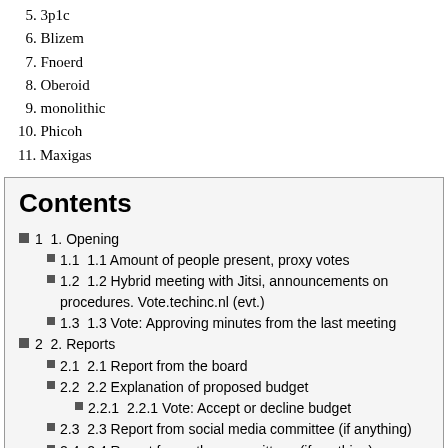5. 3p1c
6. Blizem
7. Fnoerd
8. Oberoid
9. monolithic
10. Phicoh
11. Maxigas
Contents
1  1. Opening
1.1  1.1 Amount of people present, proxy votes
1.2  1.2 Hybrid meeting with Jitsi, announcements on procedures. Vote.techinc.nl (evt.)
1.3  1.3 Vote: Approving minutes from the last meeting
2  2. Reports
2.1  2.1 Report from the board
2.2  2.2 Explanation of proposed budget
2.2.1  2.2.1 Vote: Accept or decline budget
2.3  2.3 Report from social media committee (if anything)
2.4  2.4 Report from other committees (if anything)